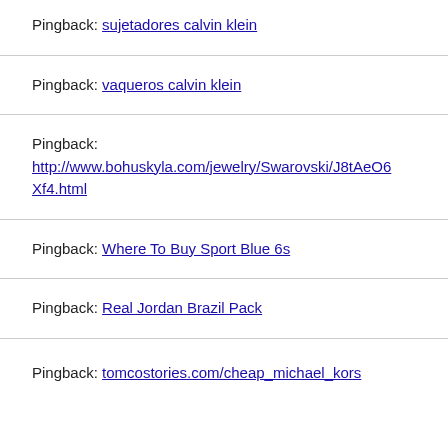Pingback: sujetadores calvin klein
Pingback: vaqueros calvin klein
Pingback: http://www.bohuskyla.com/jewelry/Swarovski/J8tAeO6Xf4.html
Pingback: Where To Buy Sport Blue 6s
Pingback: Real Jordan Brazil Pack
Pingback: tomcostories.com/cheap_michael_kors